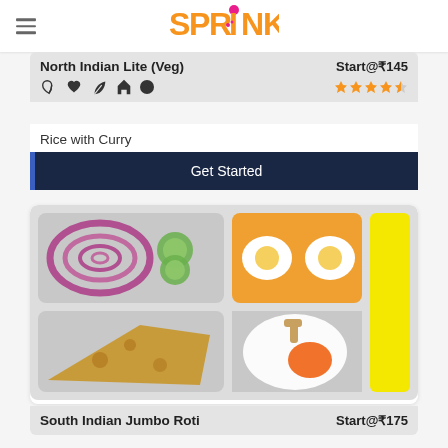[Figure (logo): SPRINK app logo with orange and pink text and dots icon]
North Indian Lite (Veg)
Start@₹145
[Figure (infographic): Icons: heart, leaf, home, circle; 4 orange stars rating]
Rice with Curry
Get Started
[Figure (illustration): Food tray illustration showing onion rings and cucumber slices, two fried eggs on orange plate, yellow rectangle, cheese slice and fried egg with orange yolk]
South Indian Jumbo Roti
Start@₹175